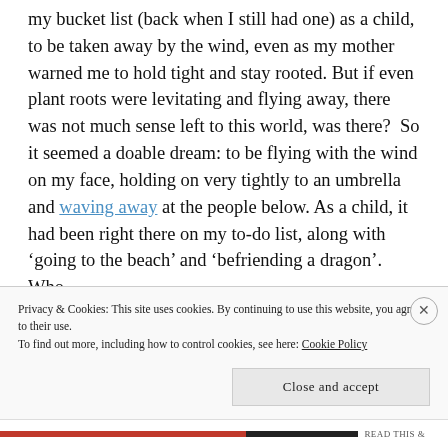my bucket list (back when I still had one) as a child, to be taken away by the wind, even as my mother warned me to hold tight and stay rooted. But if even plant roots were levitating and flying away, there was not much sense left to this world, was there?  So it seemed a doable dream: to be flying with the wind on my face, holding on very tightly to an umbrella and waving away at the people below. As a child, it had been right there on my to-do list, along with 'going to the beach' and 'befriending a dragon'. Who
Privacy & Cookies: This site uses cookies. By continuing to use this website, you agree to their use.
To find out more, including how to control cookies, see here: Cookie Policy
Close and accept